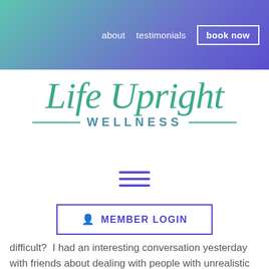about  testimonials  book now
[Figure (logo): Life Upright Wellness logo in teal/green cursive script with WELLNESS in spaced caps below, flanked by horizontal rules]
[Figure (other): Hamburger menu icon — three horizontal purple lines]
MEMBER LOGIN
difficult?  I had an interesting conversation yesterday with friends about dealing with people with unrealistic expectations and lack of gratitude.  How do you handle them?  Analyze your relationships and put an effort...